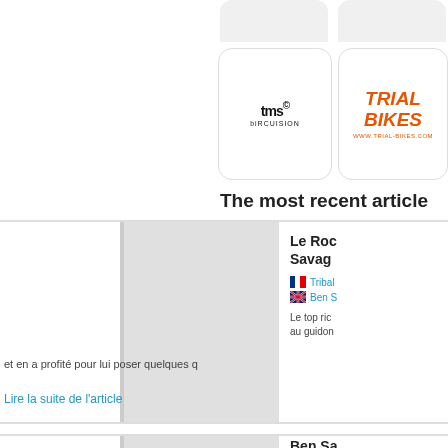[Figure (logo): TMSbikeVision logo - black stylized letters on white rounded rectangle]
[Figure (logo): Trial Bikes logo - orange bold italic text on white rounded rectangle, www.trial-bikes.com]
The most recent article
[Figure (photo): Article thumbnail image for Le Roc Savage article]
Le Roc Savage
Tribal
Ben S
Le top ric au guidon et en a profité pour lui poser quelques q
Lire la suite de l'article
[Figure (photo): Article thumbnail image for Ben Savan article]
Ben Sa
Tribal
Le Ro
Ben Savan